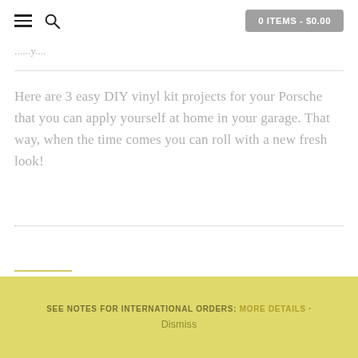0 ITEMS - $0.00
Here are 3 easy DIY vinyl kit projects for your Porsche that you can apply yourself at home in your garage. That way, when the time comes you can roll with a new fresh look!
[Figure (logo): Black rectangular area containing white block letters forming a logo]
SEE NOTES FOR INTERNATIONAL ORDERS: MORE DETAILS · Dismiss